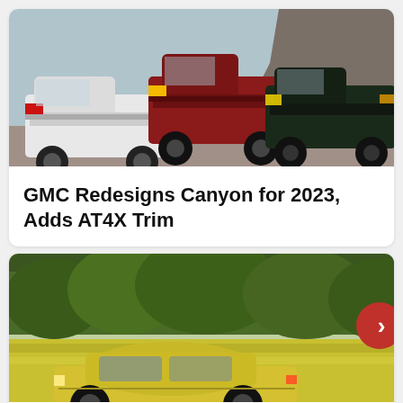[Figure (photo): Three pickup trucks (white, red, dark green/black GMC Canyon variants) parked on a rocky/sandy terrain outdoors.]
GMC Redesigns Canyon for 2023, Adds AT4X Trim
[Figure (photo): A yellow classic car (muscle car) driving on a mowed grass field with green trees in the background.]
Dine-in  ✓  Curbside pickup